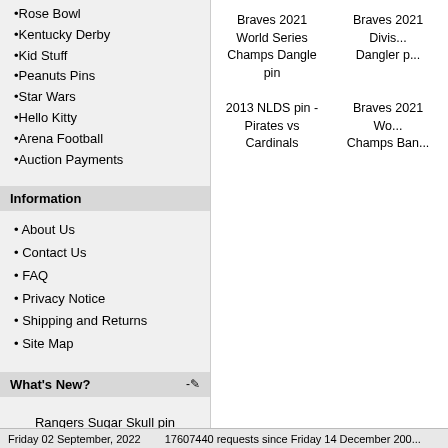•Rose Bowl
•Kentucky Derby
•Kid Stuff
•Peanuts Pins
•Star Wars
•Hello Kitty
•Arena Football
•Auction Payments
Information
• About Us
• Contact Us
• FAQ
• Privacy Notice
• Shipping and Returns
• Site Map
What's New?
Rangers Sugar Skull pin
$6.00
Manufacturers
Please Select
Braves 2021 World Series Champs Dangle pin
Braves 2021 Divis... Dangler p...
2013 NLDS pin - Pirates vs Cardinals
Braves 2021 Wo... Champs Ban...
Friday 02 September, 2022          17607440 requests since Friday 14 December 200...